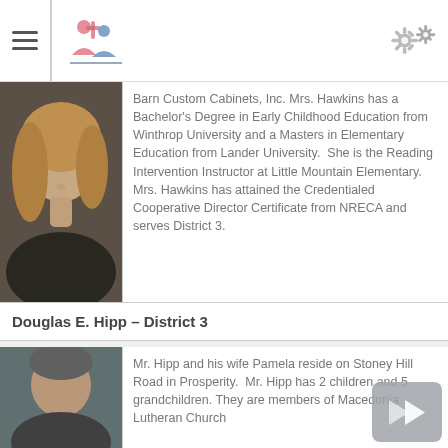Navigation header with logo and settings icon
[Figure (photo): Portrait photo of a woman with blonde hair wearing a dark jacket]
Barn Custom Cabinets, Inc. Mrs. Hawkins has a Bachelor's Degree in Early Childhood Education from Winthrop University and a Masters in Elementary Education from Lander University. She is the Reading Intervention Instructor at Little Mountain Elementary. Mrs. Hawkins has attained the Credentialed Cooperative Director Certificate from NRECA and serves District 3.
Douglas E. Hipp – District 3
[Figure (photo): Portrait photo of a man, partially visible]
Mr. Hipp and his wife Pamela reside on Stoney Hill Road in Prosperity. Mr. Hipp has 2 children and 5 grandchildren. They are members of Macedonia Lutheran Church